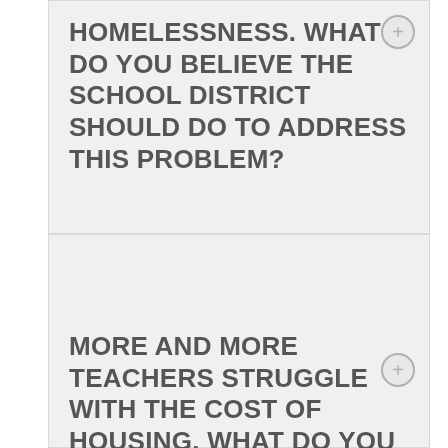HOMELESSNESS. WHAT DO YOU BELIEVE THE SCHOOL DISTRICT SHOULD DO TO ADDRESS THIS PROBLEM?
MORE AND MORE TEACHERS STRUGGLE WITH THE COST OF HOUSING. WHAT DO YOU BELIEVE THE SCHOOL DISTRICT